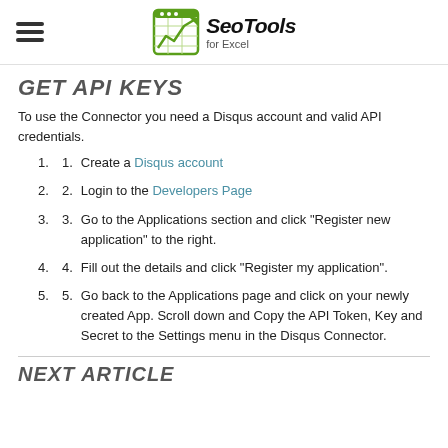SeoTools for Excel
GET API KEYS
To use the Connector you need a Disqus account and valid API credentials.
1. Create a Disqus account
2. Login to the Developers Page
3. Go to the Applications section and click "Register new application" to the right.
4. Fill out the details and click "Register my application".
5. Go back to the Applications page and click on your newly created App. Scroll down and Copy the API Token, Key and Secret to the Settings menu in the Disqus Connector.
NEXT ARTICLE